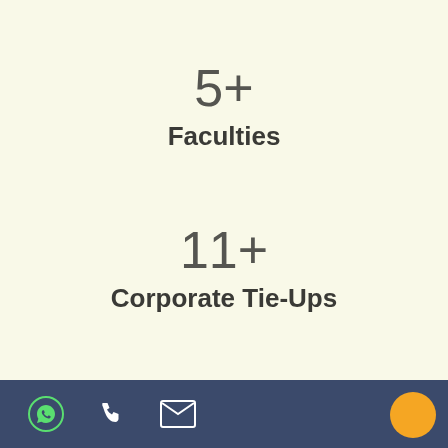5+
Faculties
11+
Corporate Tie-Ups
137+
Placements
WhatsApp, Phone, Email icons footer bar